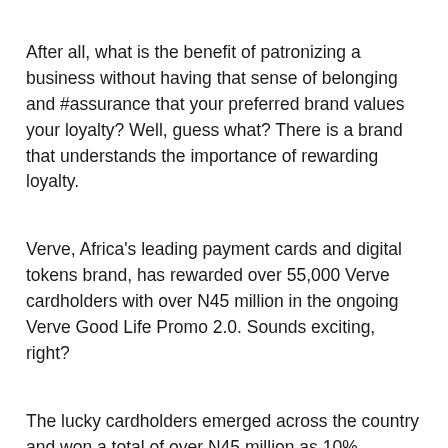After all, what is the benefit of patronizing a business without having that sense of belonging and #assurance that your preferred brand values your loyalty? Well, guess what? There is a brand that understands the importance of rewarding loyalty.
Verve, Africa's leading payment cards and digital tokens brand, has rewarded over 55,000 Verve cardholders with over N45 million in the ongoing Verve Good Life Promo 2.0. Sounds exciting, right?
The lucky cardholders emerged across the country and won a total of over N45 million as 10% cashback from the over N50 million allotted for Verve cardholders nationwide.